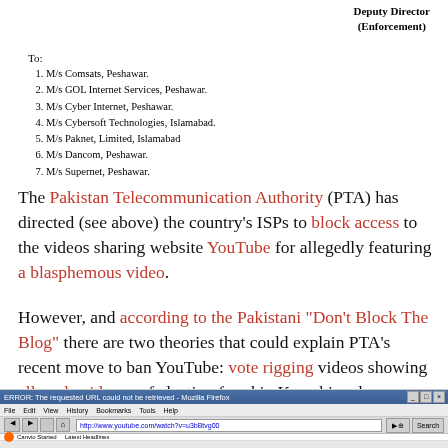Deputy Director
(Enforcement)
To:
1. M/s Comsats, Peshawar.
2. M/s GOL Internet Services, Peshawar.
3. M/s Cyber Internet, Peshawar.
4. M/s Cybersoft Technologies, Islamabad.
5. M/s Paknet, Limited, Islamabad
6. M/s Dancom, Peshawar.
7. M/s Supernet, Peshawar.
The Pakistan Telecommunication Authority (PTA) has directed (see above) the country's ISPs to block access to the videos sharing website YouTube for allegedly featuring a blasphemous video.
However, and according to the Pakistani “Don’t Block The Blog” there are two theories that could explain PTA's recent move to ban YouTube: vote rigging videos showing alleged evidence of election fraud in Karachi and a blasphemous video disgracing Prophet Mohammed.
[Figure (screenshot): Browser screenshot showing Mozilla Firefox with an error page attempting to load http://www.youtube.com/watch?v=u3bBtvg00]